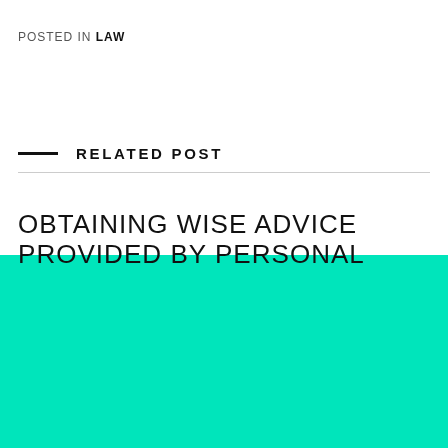POSTED IN LAW
RELATED POST
OBTAINING WISE ADVICE PROVIDED BY PERSONAL